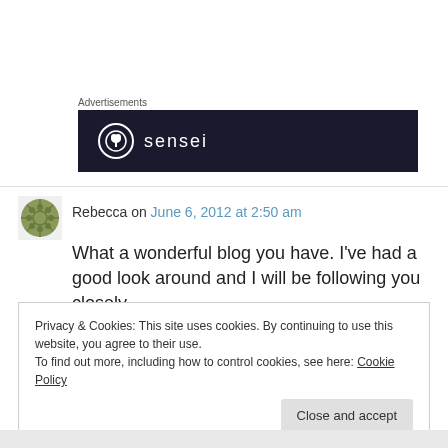Advertisements
[Figure (logo): Sensei advertisement banner: dark navy background with a circular icon showing a bonsai tree silhouette and the text 'sensei' in white lowercase letters.]
Rebecca on June 6, 2012 at 2:50 am
What a wonderful blog you have. I've had a good look around and I will be following you closely.
Privacy & Cookies: This site uses cookies. By continuing to use this website, you agree to their use.
To find out more, including how to control cookies, see here: Cookie Policy
Close and accept